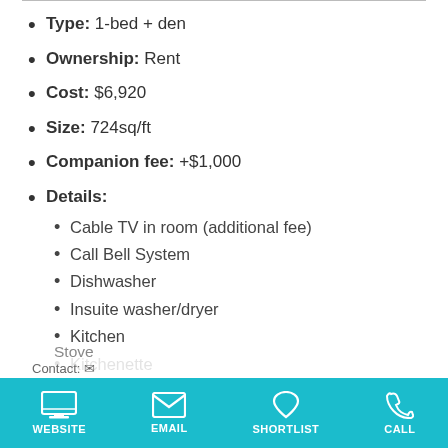Type: 1-bed + den
Ownership: Rent
Cost: $6,920
Size: 724sq/ft
Companion fee: +$1,000
Details:
Cable TV in room (additional fee)
Call Bell System
Dishwasher
Insuite washer/dryer
Kitchen
Kitchenette
Mini-fridge
Personal phone number in room (additional Fee)
Safe
WEBSITE   EMAIL   SHORTLIST   CALL